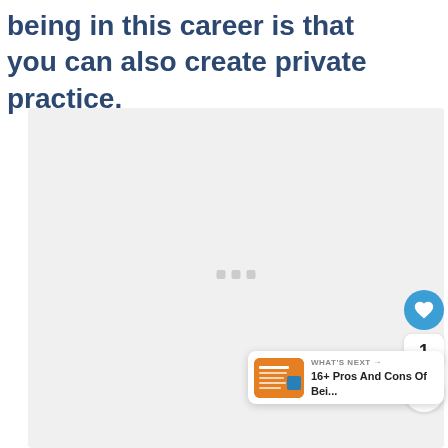being in this career is that you can also create private practice.
[Figure (other): Advertisement placeholder box with loading dots, like/share buttons on the right side, and a 'What's Next' card showing '16+ Pros And Cons Of Bei...' with a thumbnail]